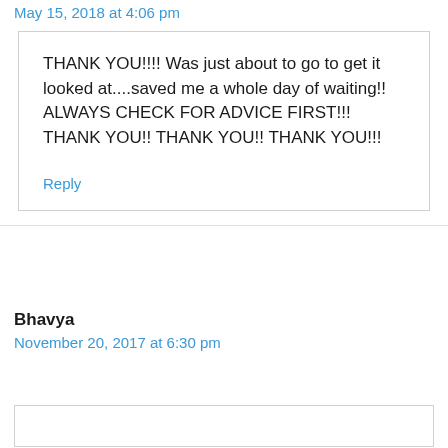May 15, 2018 at 4:06 pm
THANK YOU!!!! Was just about to go to get it looked at....saved me a whole day of waiting!! ALWAYS CHECK FOR ADVICE FIRST!!! THANK YOU!! THANK YOU!! THANK YOU!!!
Reply
Bhavya
November 20, 2017 at 6:30 pm